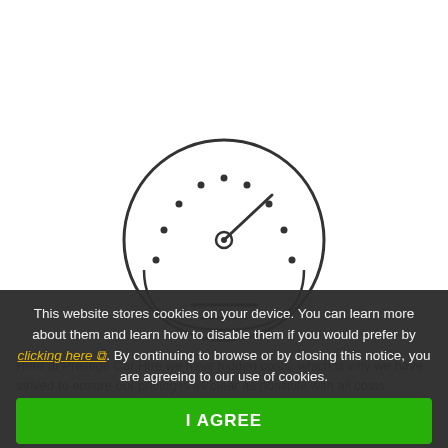[Figure (illustration): A speedometer / gauge icon drawn in outline style. Circle with semicircular dial, dots along the arc, a needle pointing to upper right, a small circle at center, and two horizontal lines at the bottom inside the circle.]
This website stores cookies on your device. You can learn more about them and learn how to disable them if you would prefer by clicking here [icon]. By continuing to browse or by closing this notice, you are agreeing to our use of cookies.
I AGREE
Here at Prestige Car Hire we have hidden costs, which is why we have strived to ensure our pricing is as clear as possible with all costs upfront, no last-minute extras and